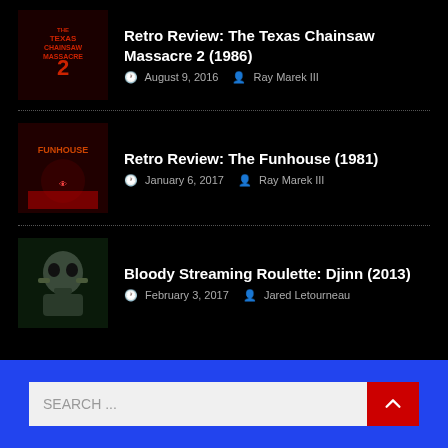Retro Review: The Texas Chainsaw Massacre 2 (1986) — August 9, 2016 — Ray Marek III
Retro Review: The Funhouse (1981) — January 6, 2017 — Ray Marek III
Bloody Streaming Roulette: Djinn (2013) — February 3, 2017 — Jared Letourneau
SEARCH ...